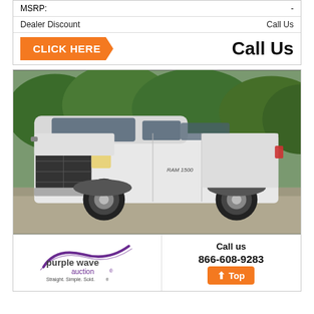| MSRP: | - |
| Dealer Discount | Call Us |
CLICK HERE  Call Us
[Figure (photo): White Dodge Ram pickup truck (extended cab, 4x4) parked on gravel in front of trees]
[Figure (logo): Purple Wave Auction logo — Straight. Simple. Sold.]
Call us
866-608-9283
Top